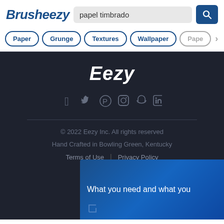Brusheezy
papel timbrado
Paper
Grunge
Textures
Wallpaper
Paper
Eezy
© 2022 Eezy Inc. All rights reserved
Hand Crafted in Bowling Green, Kentucky
Terms of Use  |  Privacy Policy
What you need and what you